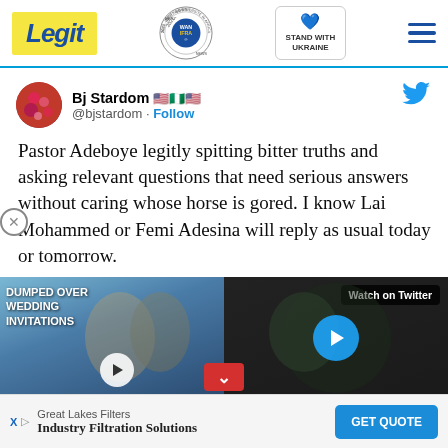Legit — WAN IFRA 2021 Best News Website in Africa — Stand With Ukraine
Bj Stardom 🇺🇸🇳🇬🇺🇸
@bjstardom · Follow
Pastor Adeboye legitly spitting bitter truths and asking relevant questions that need serious answers without caring whose horse is gored. I know Lai Mohammed or Femi Adesina will reply as usual today or tomorrow.
[Figure (screenshot): Two video thumbnails side by side: left shows a couple with text 'DUMPED OVER WEDDING INVITATIONS', right shows a man with 'Watch on Twitter' label and a play button]
Great Lakes Filters
Industry Filtration Solutions
GET QUOTE